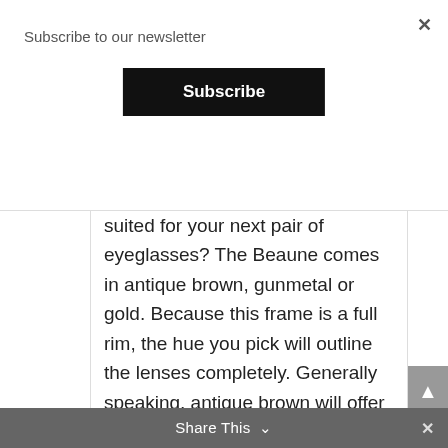Subscribe to our newsletter
Subscribe
suited for your next pair of eyeglasses? The Beaune comes in antique brown, gunmetal or gold. Because this frame is a full rim, the hue you pick will outline the lenses completely. Generally speaking, antique brown will offer a bit more contrast than gunmetal or gold depending upon your skin tone.
Get the Lenses That Are Right for You
Whether you need single vision, bifocal or progressive lenses, the Beaune large
Share This